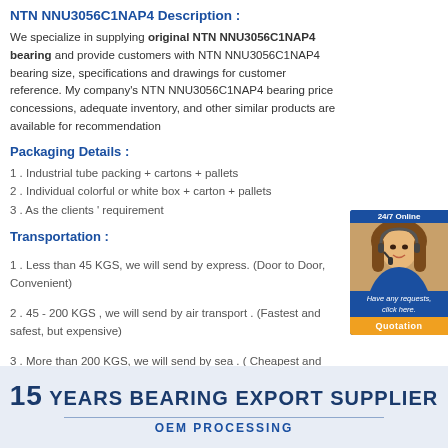NTN NNU3056C1NAP4 Description :
We specialize in supplying original NTN NNU3056C1NAP4 bearing and provide customers with NTN NNU3056C1NAP4 bearing size, specifications and drawings for customer reference. My company's NTN NNU3056C1NAP4 bearing price concessions, adequate inventory, and other similar products are available for recommendation
Packaging Details :
1 . Industrial tube packing + cartons + pallets
2 . Individual colorful or white box + carton + pallets
3 . As the clients ' requirement
Transportation :
1 . Less than 45 KGS, we will send by express. (Door to Door, Convenient)
2 . 45 - 200 KGS , we will send by air transport . (Fastest and safest, but expensive)
3 . More than 200 KGS, we will send by sea . ( Cheapest and common use )
[Figure (infographic): 15 Years Bearing Export Supplier banner with OEM Processing subtitle, light blue background]
[Figure (photo): 24/7 Online support widget with woman wearing headset and Quotation button]